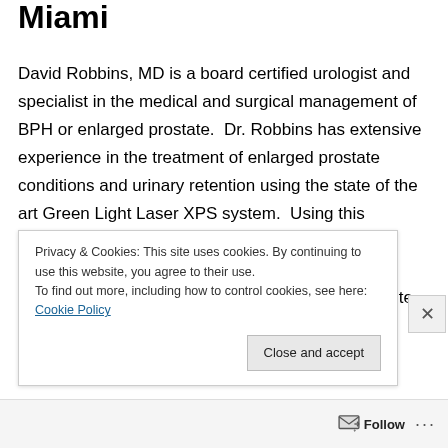Miami
David Robbins, MD is a board certified urologist and specialist in the medical and surgical management of BPH or enlarged prostate.  Dr. Robbins has extensive experience in the treatment of enlarged prostate conditions and urinary retention using the state of the art Green Light Laser XPS system.  Using this technology Dr. Robbins is able to improve patients burdensome voiding symptoms including urinary urgency, frequency, night time frequency, incomplete emptying, slow stream and
Privacy & Cookies: This site uses cookies. By continuing to use this website, you agree to their use.
To find out more, including how to control cookies, see here: Cookie Policy
Close and accept
Follow